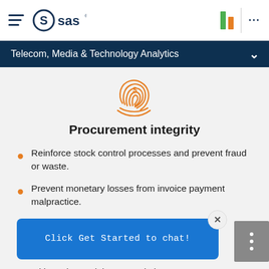SAS — Telecom, Media & Technology Analytics
Telecom, Media & Technology Analytics
[Figure (illustration): Orange line-art fingerprint icon with a dollar sign inside, representing procurement integrity.]
Procurement integrity
Reinforce stock control processes and prevent fraud or waste.
Prevent monetary losses from invoice payment malpractice.
Mitigate internal threats and abuse.